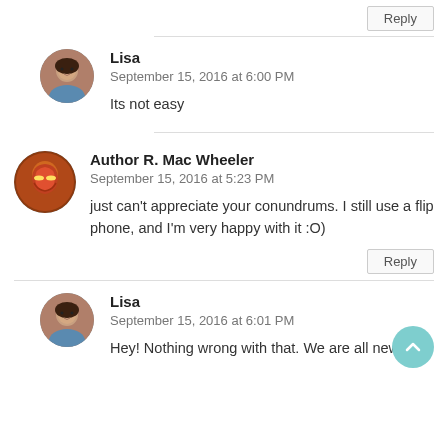Reply
[Figure (illustration): Circular avatar photo of Lisa, a woman with dark hair]
Lisa
September 15, 2016 at 6:00 PM
Its not easy
[Figure (illustration): Circular avatar of Author R. Mac Wheeler, Iron Man-like figure]
Author R. Mac Wheeler
September 15, 2016 at 5:23 PM
just can't appreciate your conundrums. I still use a flip phone, and I'm very happy with it :O)
Reply
[Figure (illustration): Circular avatar photo of Lisa, a woman with dark hair]
Lisa
September 15, 2016 at 6:01 PM
Hey! Nothing wrong with that. We are all new